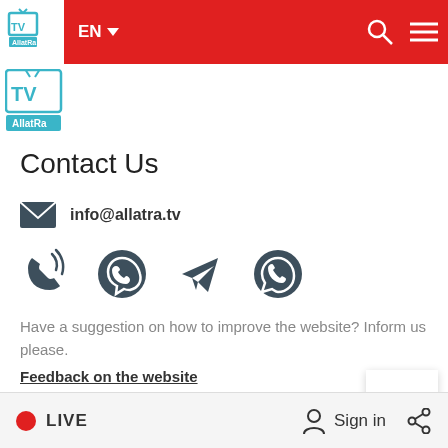[Figure (logo): AllatRa TV logo in white/red navigation bar, top left]
[Figure (logo): AllatRa TV larger logo below navigation bar]
Contact Us
info@allatra.tv
[Figure (infographic): Four social/contact icons: phone with waves, Viber logo, Telegram paper plane, WhatsApp]
Have a suggestion on how to improve the website? Inform us please.
Feedback on the website
Follow our news!
LIVE   Sign in